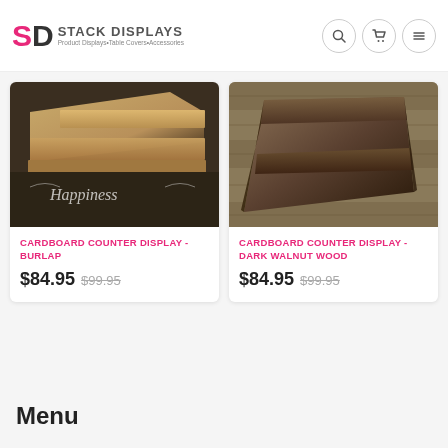SD STACK DISPLAYS | Product Displays • Table Covers • Accessories
[Figure (photo): Cardboard counter display burlap product photo]
CARDBOARD COUNTER DISPLAY - BURLAP
$84.95  $99.95
[Figure (photo): Cardboard counter display dark walnut wood product photo]
CARDBOARD COUNTER DISPLAY - DARK WALNUT WOOD
$84.95  $99.95
Menu